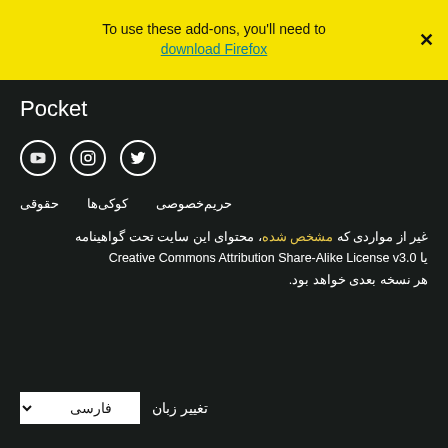To use these add-ons, you'll need to download Firefox
Pocket
[Figure (infographic): Social media icons: YouTube, Instagram, Twitter in white circles on dark background]
حریم‌خصوصی   کوکی‌ها   حقوقی
غیر از مواردی که مشخص شده، محتوای این سایت تحت گواهینامه Creative Commons Attribution Share-Alike License v3.0 یا هر نسخه بعدی خواهد بود.
تغییر زبان   فارسی